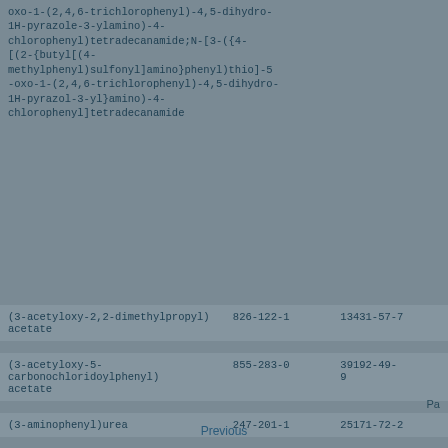oxo-1-(2,4,6-trichlorophenyl)-4,5-dihydro-1H-pyrazole-3-ylamino)-4-chlorophenyl)tetradecanamide;N-[3-({4-[(2-{butyl[(4-methylphenyl)sulfonyl]amino}phenyl)thio]-5-oxo-1-(2,4,6-trichlorophenyl)-4,5-dihydro-1H-pyrazol-3-yl}amino)-4-chlorophenyl]tetradecanamide
|  |  |  |
| --- | --- | --- |
| (3-acetyloxy-2,2-dimethylpropyl) acetate | 826-122-1 | 13431-57-7 |
| (3-acetyloxy-5-carbonochloridoylphenyl) acetate | 855-283-0 | 39192-49-9 |
| (3-aminophenyl)urea | 247-201-1 | 25171-72-2 |
| (3-aminophenyl)uronium chloride | 261-858-1 | 59690-88-9 |
Pa
Previous